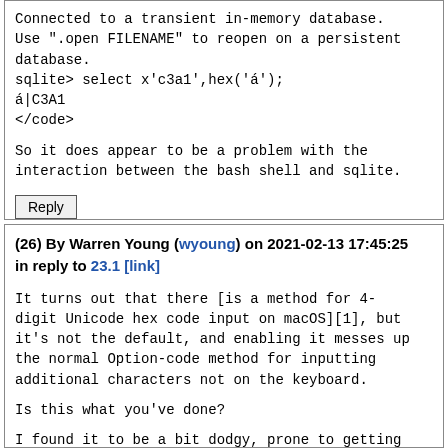Connected to a transient in-memory database.
Use ".open FILENAME" to reopen on a persistent database.
sqlite> select x'c3a1',hex('á');
á|C3A1
</code>
So it does appear to be a problem with the interaction between the bash shell and sqlite.
Reply
(26) By Warren Young (wyoung) on 2021-02-13 17:45:25 in reply to 23.1 [link]
It turns out that there [is a method for 4-digit Unicode hex code input on macOS][1], but it's not the default, and enabling it messes up the normal Option-code method for inputting additional characters not on the keyboard.
Is this what you've done?
I found it to be a bit dodgy, prone to getting confused about the order of the hex digits if you fat-finger one. This on top of the